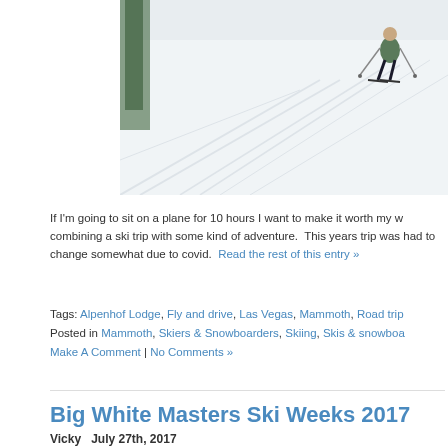[Figure (photo): Ski slope covered in snow with a skier in a green jacket using poles on a groomed run]
If I'm going to sit on a plane for 10 hours I want to make it worth my w... combining a ski trip with some kind of adventure.  This years trip was... had to change somewhat due to covid. Read the rest of this entry »
Tags: Alpenhof Lodge, Fly and drive, Las Vegas, Mammoth, Road trip...
Posted in Mammoth, Skiers & Snowboarders, Skiing, Skis & snowboa...
Make A Comment | No Comments »
Big White Masters Ski Weeks 2017
Vicky   July 27th, 2017